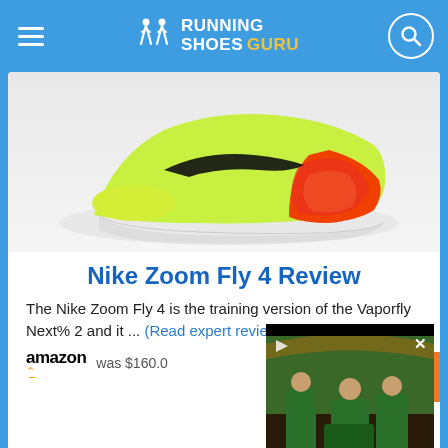Running Shoes Guru
[Figure (photo): Nike Zoom Fly 4 running shoe in lime green/yellow with orange and coral accents and white midsole, viewed from the side]
Nike Zoom Fly 4 Review
The Nike Zoom Fly 4 is the training version of the Vaporfly Next% 2 and it ... (Read expert review)
amazon was $160.0
[Figure (screenshot): Video player overlay showing people in tropical setting; with play, pause, mute, and close controls]